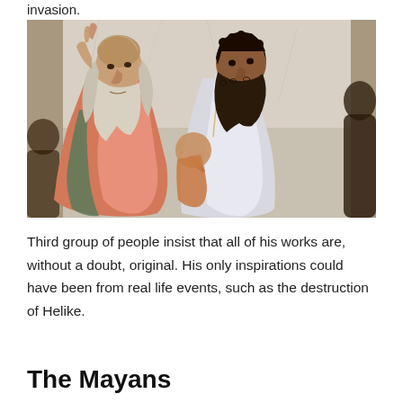invasion.
[Figure (photo): Detail from Raphael's 'The School of Athens' showing two bearded philosophers, one in red robes pointing upward and the other in white robes, engaged in discussion.]
Third group of people insist that all of his works are, without a doubt, original. His only inspirations could have been from real life events, such as the destruction of Helike.
The Mayans